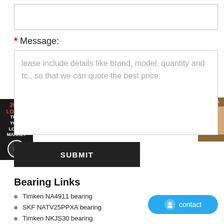* Message:
Please include details like brand, model, quantity and etc., so that we can quote the best price.
SUBMIT
Bearing Links
Timken NA4911 bearing
SKF NATV25PPXA bearing
Timken NKJS30 bearing
SKF 7019ACB/HCP4AL bearing
TIMKEN HH231637/HH231615 bearing
NTN SLX130X220X120 bearing
NTN NKIA5904 bearing
contact